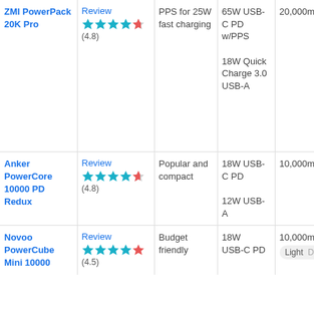| Product | Review | Description | Power | Capacity |
| --- | --- | --- | --- | --- |
| ZMI PowerPack 20K Pro | Review ★★★★★ (4.8) | PPS for 25W fast charging | 65W USB-C PD w/PPS
18W Quick Charge 3.0 USB-A | 20,000mA |
| Anker PowerCore 10000 PD Redux | Review ★★★★★ (4.8) | Popular and compact | 18W USB-C PD
12W USB-A | 10,000mA |
| Novoo PowerCube Mini 10000 | Review ★★★★★ (4.5) | Budget friendly | 18W USB-C PD | 10,000mA |